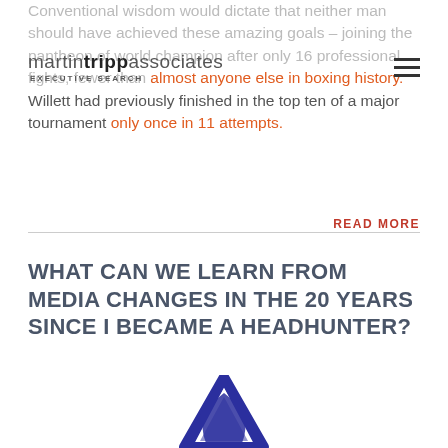martin tripp associates EXECUTIVE SEARCH
Conventional wisdom would dictate that neither man should have achieved these amazing goals – joining the pantheon of world champions after only 16 professional fights, fewer than almost anyone else in boxing history. Willett had previously finished in the top ten of a major tournament only once in 11 attempts.
READ MORE
WHAT CAN WE LEARN FROM MEDIA CHANGES IN THE 20 YEARS SINCE I BECAME A HEADHUNTER?
[Figure (logo): Blue triangular logo mark partially visible at bottom of page]